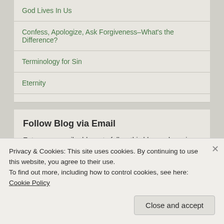God Lives In Us
Confess, Apologize, Ask Forgiveness–What's the Difference?
Terminology for Sin
Eternity
Follow Blog via Email
Enter your email address to follow this blog and receive notifications of new posts by email.
Enter your email address
Privacy & Cookies: This site uses cookies. By continuing to use this website, you agree to their use.
To find out more, including how to control cookies, see here: Cookie Policy
Close and accept